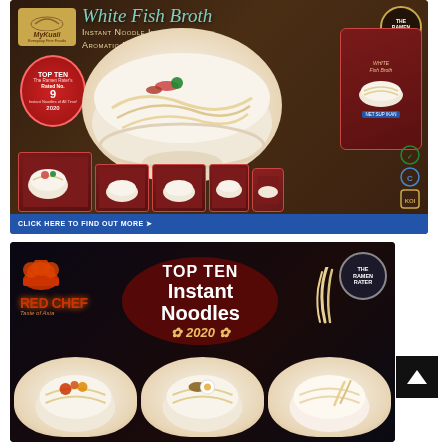[Figure (photo): MyKuali White Fish Broth Instant Noodle advertisement. Dark brown background with a large bowl of noodles with toppings on the left, a product packet on the right, and product lineup (boxes, cups) at bottom. Top Ten Ramen Rater Rated No. 9 badge. Click here to find out more banner at bottom.]
[Figure (photo): Red Chef Taste of Asia advertisement on black background showing TOP TEN Instant Noodles 2020 with The Ramen Rater badge. Three bowls of noodles visible at the bottom.]